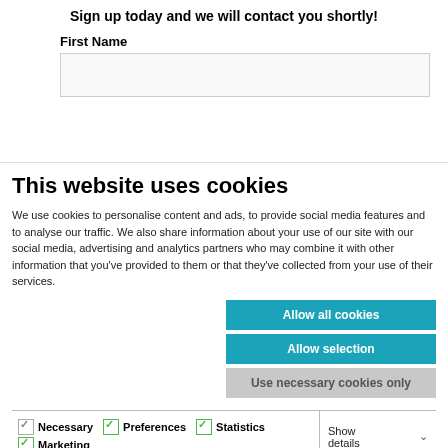Sign up today and we will contact you shortly!
First Name
[Figure (screenshot): Empty text input field for First Name]
This website uses cookies
We use cookies to personalise content and ads, to provide social media features and to analyse our traffic. We also share information about your use of our site with our social media, advertising and analytics partners who may combine it with other information that you've provided to them or that they've collected from your use of their services.
Allow all cookies
Allow selection
Use necessary cookies only
Necessary   Preferences   Statistics   Marketing   Show details